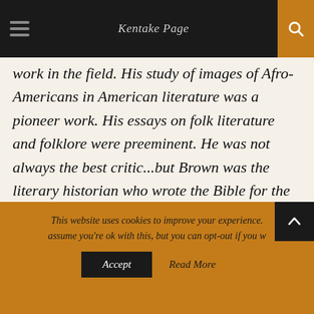Kentake Page
work in the field. His study of images of Afro-Americans in American literature was a pioneer work. His essays on folk literature and folklore were preeminent. He was not always the best critic...but Brown was the literary historian who wrote the Bible for the study of Afro-American literature.”
Sterling Allen Brown was born in Washington, D.C., on May 1, 1901. He was born on Howard University’s campus, as the
This website uses cookies to improve your experience. assume you're ok with this, but you can opt-out if you w